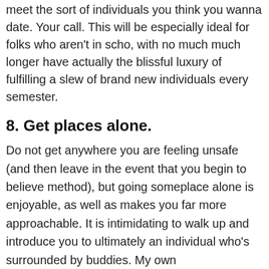meet the sort of individuals you think you wanna date. Your call. This will be especially ideal for folks who aren't in scho, with no much much longer have actually the blissful luxury of fulfilling a slew of brand new individuals every semester.
8. Get places alone.
Do not get anywhere you are feeling unsafe (and then leave in the event that you begin to believe method), but going someplace alone is enjoyable, as well as makes you far more approachable. It is intimidating to walk up and introduce you to ultimately an individual who's surrounded by buddies. My own recommendation would be to bring good guide to a club with a decent pleased hour and read while you drink and snack on fries. Even when no one catches your attention or approaches, it is a way that is lovely invest a night.
9. Make a “no phones allowed” re